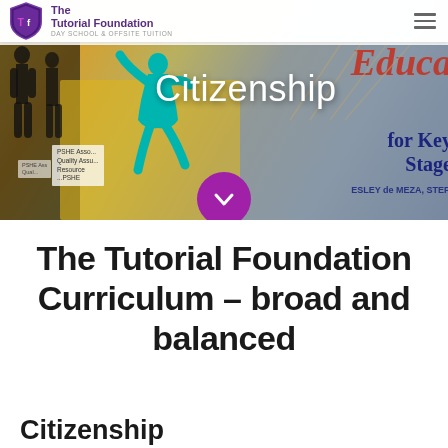[Figure (photo): Website header banner showing citizenship-related educational books and materials with colourful background. A teal jumping figure silhouette is visible on the left, dark silhouettes on the far left, and red/blue text from a book on the right reading 'Educa' and 'for Key Stage'. A PSHE quality assured resource label is visible in the lower left. A magenta circular scroll button with a chevron is centered at the bottom of the banner.]
The Tutorial Foundation — DAY SCHOOL & OFFSITE TUITION
Citizenship
The Tutorial Foundation Curriculum – broad and balanced
Citizenship